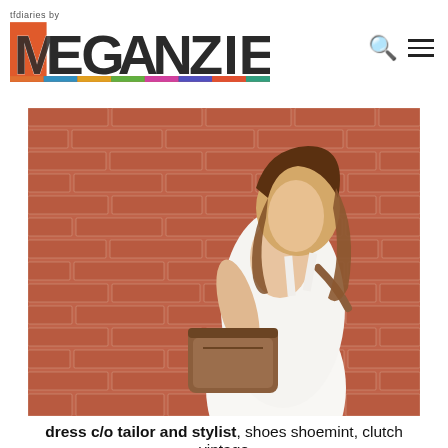tfdiaries by MEGAN ZIETZ
[Figure (photo): A young woman in a white dress holding a brown leather clutch, posed against a red brick wall, looking back over her shoulder.]
dress c/o tailor and stylist, shoes shoemint, clutch vintage